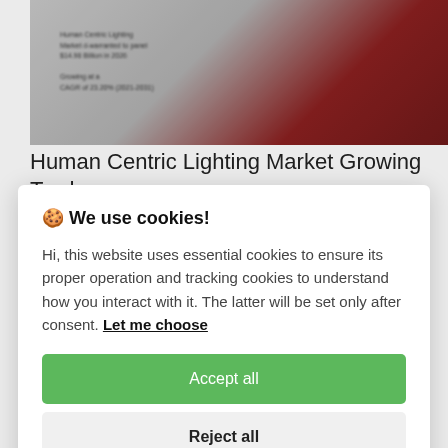[Figure (screenshot): Blurred screenshot of a webpage about Human Centric Lighting Market with product image on right side]
Human Centric Lighting Market Growing Trade
🍪 We use cookies!

Hi, this website uses essential cookies to ensure its proper operation and tracking cookies to understand how you interact with it. The latter will be set only after consent. Let me choose

Accept all

Reject all